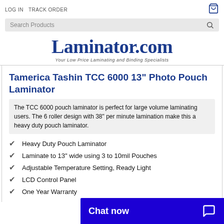LOG IN  TRACK ORDER
Search Products
Laminator.com
Your Low Price Laminating and Binding Specialists
Tamerica Tashin TCC 6000 13" Photo Pouch Laminator
The TCC 6000 pouch laminator is perfect for large volume laminating users. The 6 roller design with 38" per minute lamination make this a heavy duty pouch laminator.
Heavy Duty Pouch Laminator
Laminate to 13" wide using 3 to 10mil Pouches
Adjustable Temperature Setting, Ready Light
LCD Control Panel
One Year Warranty
Chat now